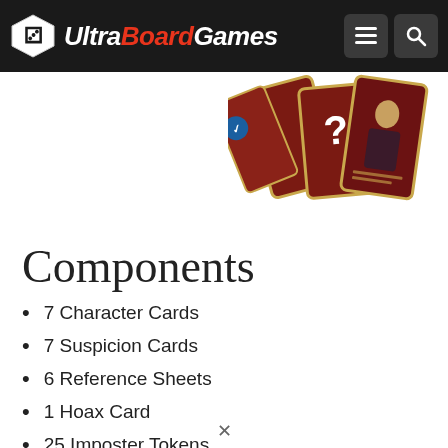UltraBoardGames
[Figure (photo): Decorative board game cards fanned out showing character cards with illustrated figures and a question mark card, with dark red vintage-style borders]
Components
7 Character Cards
7 Suspicion Cards
6 Reference Sheets
1 Hoax Card
25 Imposter Tokens
27 Resource Tokens
Instructions